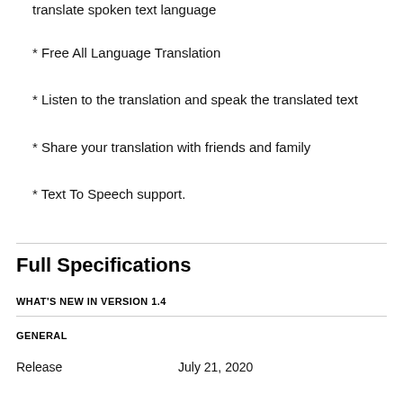translate spoken text language
Free All Language Translation
Listen to the translation and speak the translated text
Share your translation with friends and family
Text To Speech support.
Full Specifications
WHAT'S NEW IN VERSION 1.4
GENERAL
Release	July 21, 2020